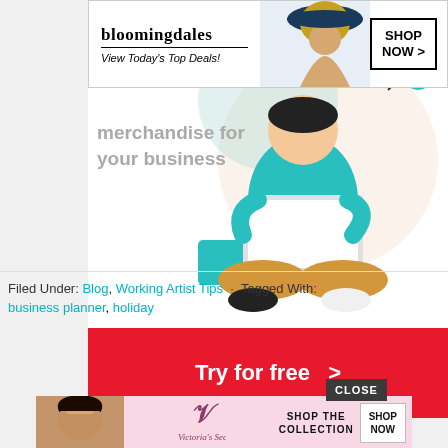[Figure (screenshot): Partial view of a webpage with illustration showing person at laptop with text 'merchandise for your business' and a red 'Try for free >' button]
[Figure (screenshot): Bloomingdales banner advertisement: logo, 'View Today's Top Deals!', model photo, 'SHOP NOW >' button]
Filed Under: Blog, Working Artist Tips · Tagged With:
business planner, holiday
[Figure (screenshot): Victoria's Secret banner advertisement: model photo, VS logo, 'SHOP THE COLLECTION', 'SHOP NOW' button]
CLOSE